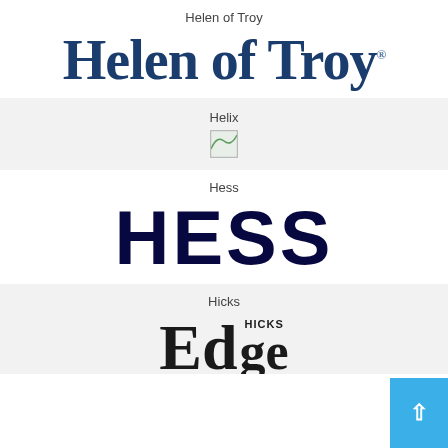Helen of Troy
[Figure (logo): Helen of Troy logo in large dark blue serif font]
Helix
[Figure (logo): Helix logo - broken/missing image placeholder]
Hess
[Figure (logo): HESS logo in large bold dark navy condensed sans-serif font]
Hicks
[Figure (logo): Hicks Edge logo partially visible at bottom of page]